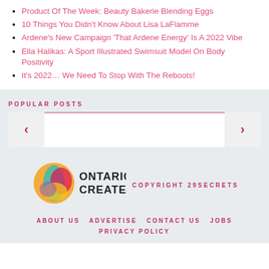Product Of The Week: Beauty Bakerie Blending Eggs
10 Things You Didn't Know About Lisa LaFlamme
Ardene's New Campaign 'That Ardene Energy' Is A 2022 Vibe
Ella Halikas: A Sport Illustrated Swimsuit Model On Body Positivity
It's 2022… We Need To Stop With The Reboots!
POPULAR POSTS
[Figure (other): Popular posts carousel with left and right navigation arrows and a content area with a red top border]
[Figure (logo): Ontario Creates logo — colorful circular icon with overlapping shapes in orange, red/pink, teal, and yellow, next to 'ONTARIO CREATES' text in black]
COPYRIGHT 29SECRETS
ABOUT US   ADVERTISE   CONTACT US   JOBS   PRIVACY POLICY